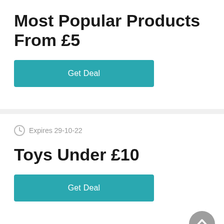Most Popular Products From £5
Get Deal
Expires 29-10-22
Toys Under £10
Get Deal
Expires 29-10-22
Department Store Sale - Up To